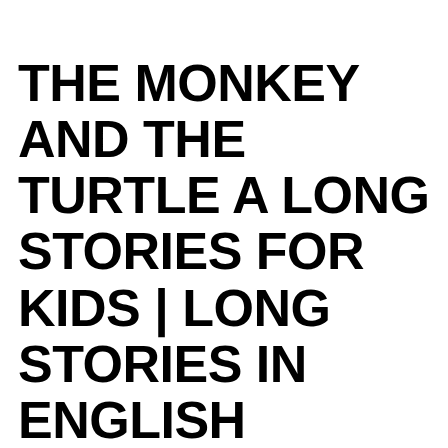THE MONKEY AND THE TURTLE A LONG STORIES FOR KIDS | LONG STORIES IN ENGLISH